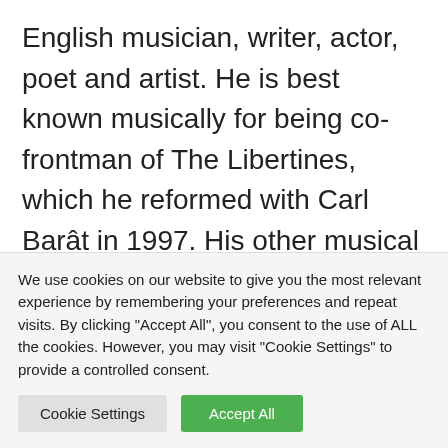English musician, writer, actor, poet and artist. He is best known musically for being co-frontman of The Libertines, which he reformed with Carl Barât in 1997. His other musical project is indie band Babyshambles. In 2005, Doherty became prominent in tabloids, the news media, and pop culture blogs because of his romantic relationship with model Kate Moss and his frequently-publicised drug addictions
We use cookies on our website to give you the most relevant experience by remembering your preferences and repeat visits. By clicking "Accept All", you consent to the use of ALL the cookies. However, you may visit "Cookie Settings" to provide a controlled consent.